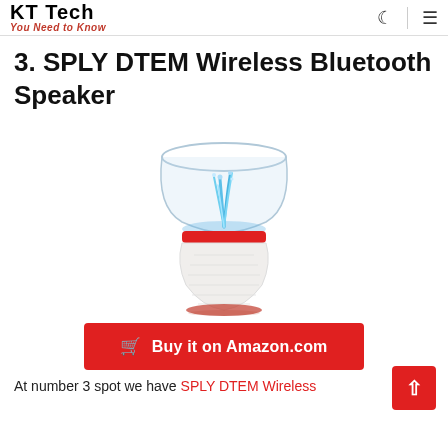KT Tech — You Need to Know
3. SPLY DTEM Wireless Bluetooth Speaker
[Figure (photo): Product photo of SPLY DTEM Wireless Bluetooth Speaker — an hourglass-shaped speaker with a transparent top bowl showing blue LED water fountain effect, a red band in the middle, and a white textured base.]
Buy it on Amazon.com
At number 3 spot we have SPLY DTEM Wireless